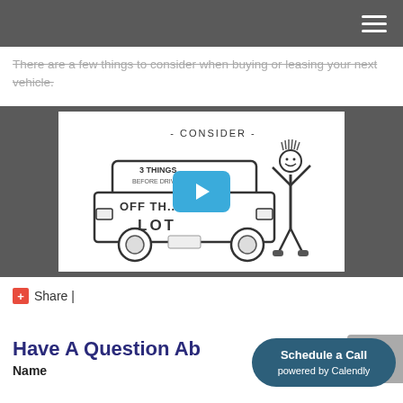There are a few things to consider when buying or leasing your next vehicle.
[Figure (screenshot): Video thumbnail showing a hand-drawn car with text '- CONSIDER - 3 THINGS BEFORE DRIV... OFF TH... LOT' and an inflatable tube man figure, with a blue play button overlay.]
Share |
Have A Question Ab...
Name